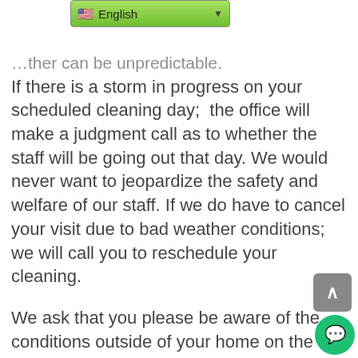[Figure (screenshot): Language selector dropdown showing flag icon and 'English' text with green gradient background and dropdown arrow]
...ther can be unpredictable. If there is a storm in progress on your scheduled cleaning day; the office will make a judgment call as to whether the staff will be going out that day. We would never want to jeopardize the safety and welfare of our staff. If we do have to cancel your visit due to bad weather conditions; we will call you to reschedule your cleaning.
We ask that you please be aware of the conditions outside of your home on the day that we are scheduled. Please keep driveways and walkways shoveled, sanded and/or salted so that our staff can access your home without getting injured. If you feel that we may not be able to access the home because of the conditions, please call the office in advance to let us know.